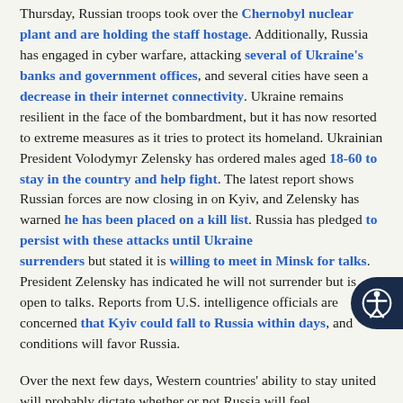Thursday, Russian troops took over the Chernobyl nuclear plant and are holding the staff hostage. Additionally, Russia has engaged in cyber warfare, attacking several of Ukraine's banks and government offices, and several cities have seen a decrease in their internet connectivity. Ukraine remains resilient in the face of the bombardment, but it has now resorted to extreme measures as it tries to protect its homeland. Ukrainian President Volodymyr Zelensky has ordered males aged 18-60 to stay in the country and help fight. The latest report shows Russian forces are now closing in on Kyiv, and Zelensky has warned he has been placed on a kill list. Russia has pledged to persist with these attacks until Ukraine surrenders but stated it is willing to meet in Minsk for talks. President Zelensky has indicated he will not surrender but is open to talks. Reports from U.S. intelligence officials are concerned that Kyiv could fall to Russia within days, and conditions will favor Russia.
Over the next few days, Western countries' ability to stay united will probably dictate whether or not Russia will feel emboldened. The biggest impediment appears to be Europe. Russia depends on Europe to sell its fuels and receive payments, so a blockade from receiving euros could potentially be a death knell to the Russian